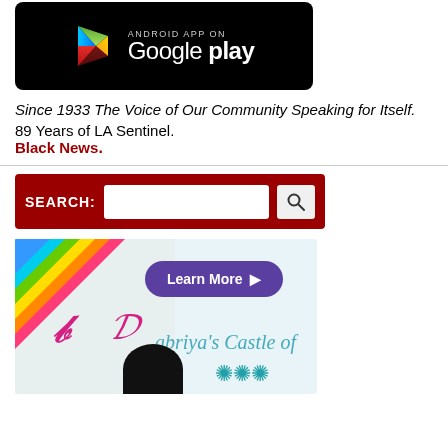[Figure (logo): Android App on Google Play badge — black background with Google Play triangle logo and text]
Since 1933 The Voice of Our Community Speaking for Itself.
89 Years of LA Sentinel.
Black News.
[Figure (other): Red search bar with SEARCH: label, white input field, and magnifying glass button]
[Figure (illustration): Dabriya's Castle of — advertisement banner with rainbow background, purple Learn More button, pink script letter D, and teal text]